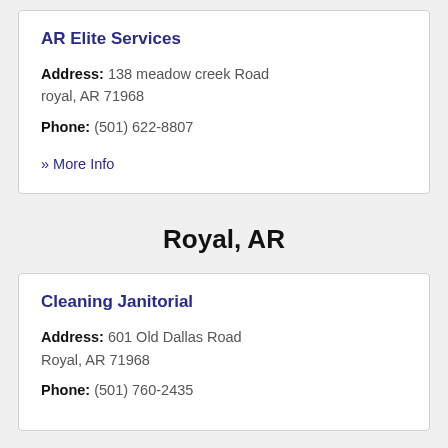AR Elite Services
Address: 138 meadow creek Road royal, AR 71968
Phone: (501) 622-8807
» More Info
Royal, AR
Cleaning Janitorial
Address: 601 Old Dallas Road Royal, AR 71968
Phone: (501) 760-2435